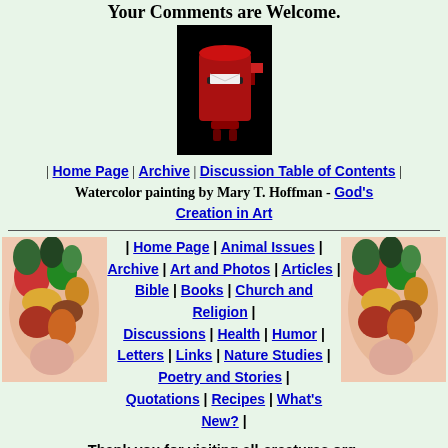Your Comments are Welcome.
[Figure (illustration): Red mailbox/postbox with a white envelope/letter inserted, on black background]
| Home Page | Archive | Discussion Table of Contents | Watercolor painting by Mary T. Hoffman - God's Creation in Art
[Figure (illustration): Watercolor painting of vegetables/fruits (squash, peppers, etc.) - left corner]
| Home Page | Animal Issues | Archive | Art and Photos | Articles | Bible | Books | Church and Religion | Discussions | Health | Humor | Letters | Links | Nature Studies | Poetry and Stories | Quotations | Recipes | What's New? |
[Figure (illustration): Watercolor painting of vegetables/fruits - right corner]
Thank you for visiting all-creatures.org. Since 1 Jan 2022 you are visitor 1205897 to this site 3 to this page